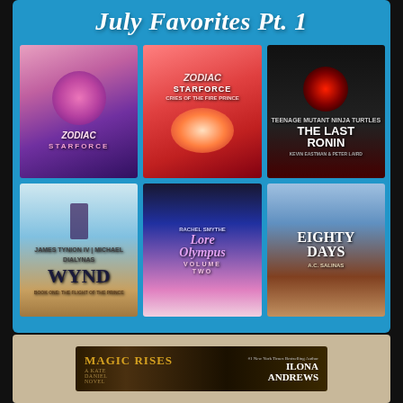July Favorites Pt. 1
[Figure (illustration): Grid of 6 book covers: Zodiac Starforce (dark cover), Zodiac Starforce Cries of the Fire Prince, The Last Ronin by Kevin Eastman & Peter Laird, Wynd by James Tynion IV & Michael Dialynas, Lore Olympus Volume Two by Rachel Smythe, Eighty Days by A.C. Salinas]
[Figure (illustration): Partial book cover of Magic Rises by Ilona Andrews on a tan background]